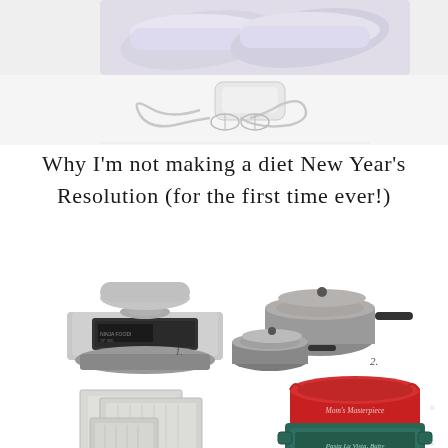[Figure (photo): Top portion of a blog post: white athletic shoes at top, and a white hand mixer with cord below, on white background]
Why I'm not making a diet New Year's Resolution (for the first time ever!)
[Figure (photo): Product collage of kitchen items: 1. Ninja Foodi pressure cooker (stainless steel), 2. Gray ceramic cookware set with pots and pans, 3. Aluminum baking sheets set, 4. Red ceramic pie dish labeled 'Mom's Masterpiece', 5. Teal baking dish labeled 'Pasta La Vista, Baby']